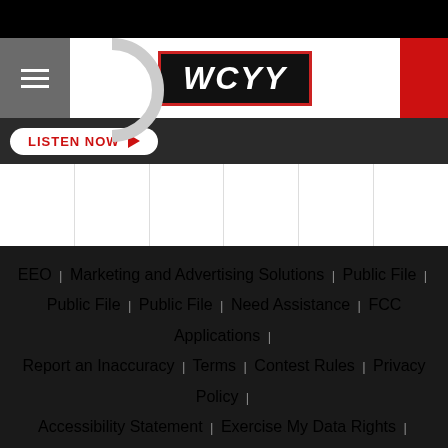[Figure (logo): WCYY radio station logo in white bold italic text on black background with red border]
[Figure (other): LISTEN NOW button with play arrow in red on white pill-shaped button]
EEO | Marketing and Advertising Solutions | Public File | Public File | Public File | Need Assistance | FCC Applications | Report an Inaccuracy | Terms | Contest Rules | Privacy Policy | Accessibility Statement | Exercise My Data Rights | Contact | Portland Business Listings
© 2022 94.3 WCYY, Townsquare Media, Inc. All rights reserved.